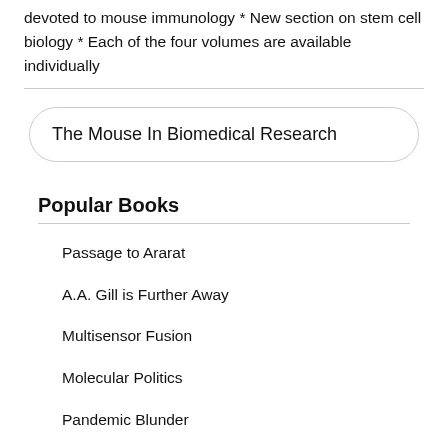devoted to mouse immunology * New section on stem cell biology * Each of the four volumes are available individually
The Mouse In Biomedical Research
Popular Books
Passage to Ararat
A.A. Gill is Further Away
Multisensor Fusion
Molecular Politics
Pandemic Blunder